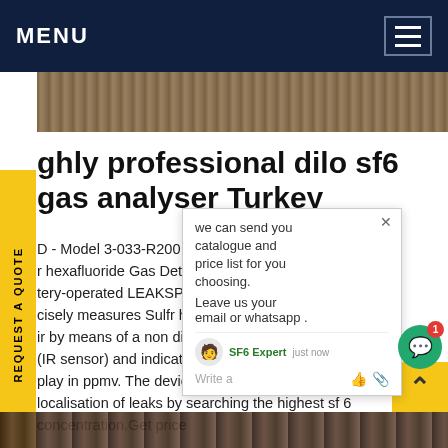MENU
[Figure (photo): Gravel/rock texture hero image]
ghly professional dilo sf6 gas analyser Turkey
D - Model 3-033-R200 - insulating p r hexafluoride Gas Detectors. Th tery-operated LEAKSPY Sulfr cisely measures Sulfr hexafluorid ation ir by means of a non dispersive infrared sensor (IR sensor) and indicates the value on a graphic play in ppmv. The device allows precise localisation of leaks by searching the highest sf 6 concentration.Get price
[Figure (screenshot): Chat popup with message: we can send you catalogue and price list for you choosing. Leave us your email or whatsapp. SF6 Expert, just now. Write a message area.]
[Figure (photo): Bottom strip industrial image]